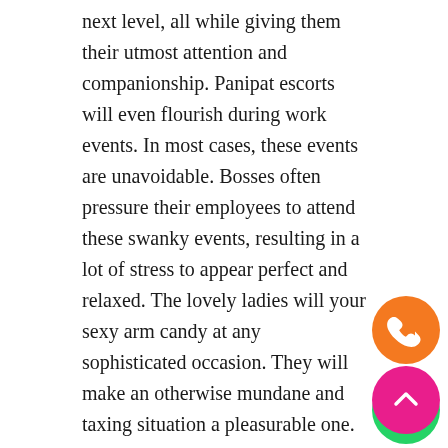next level, all while giving them their utmost attention and companionship. Panipat escorts will even flourish during work events. In most cases, these events are unavoidable. Bosses often pressure their employees to attend these swanky events, resulting in a lot of stress to appear perfect and relaxed. The lovely ladies will your sexy arm candy at any sophisticated occasion. They will make an otherwise mundane and taxing situation a pleasurable one.
Having a beautiful girl accompanying you to a busine or formal event can also garner some much-needed attention. Their companionship may lead to both personal and professional growth. While most do not realize it, the person you bring to an event can say a lot about you as a person. When you walk into the room with a breathtaking woman, all eyes will be on you. People will compliment her gorgeousness while thinking highly of you in the process. With a stunning woman by your side, you will automatically give off an
[Figure (other): Orange circular phone call button icon]
[Figure (other): Green circular WhatsApp icon button]
[Figure (other): Pink circular scroll-to-top button with upward chevron]